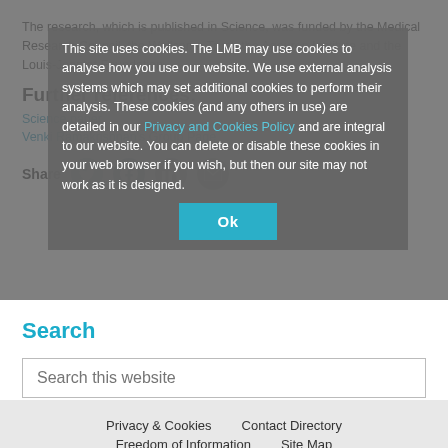The research, which is published in Science, was funded by the Medical Research Council, the Wellcome Trust, the Agouron Institute and the Louis-Jeantet Foundation.
Further references:
Science paper
Venki Ramakrishnan's Group Page
This site uses cookies. The LMB may use cookies to analyse how you use our website. We use external analysis systems which may set additional cookies to perform their analysis. These cookies (and any others in use) are detailed in our Privacy and Cookies Policy and are integral to our website. You can delete or disable these cookies in your web browser if you wish, but then our site may not work as it is designed.
Share
Search
Search this website
Privacy & Cookies   Contact Directory   Freedom of Information   Site Map